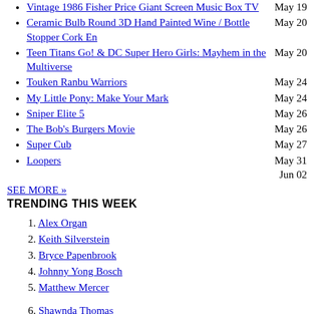Vintage 1986 Fisher Price Giant Screen Music Box TV — May 19
Ceramic Bulb Round 3D Hand Painted Wine / Bottle Stopper Cork En — May 20
Teen Titans Go! & DC Super Hero Girls: Mayhem in the Multiverse — May 20
Touken Ranbu Warriors — May 24
My Little Pony: Make Your Mark — May 24
Sniper Elite 5 — May 26
The Bob's Burgers Movie — May 26
Super Cub — May 27
Loopers — May 31 / Jun 02
SEE MORE »
TRENDING THIS WEEK
1. Alex Organ
2. Keith Silverstein
3. Bryce Papenbrook
4. Johnny Yong Bosch
5. Matthew Mercer
6. Shawnda Thomas
7. Cherami Leigh
8. Billy Kametz
9. Natalie Van Sistine